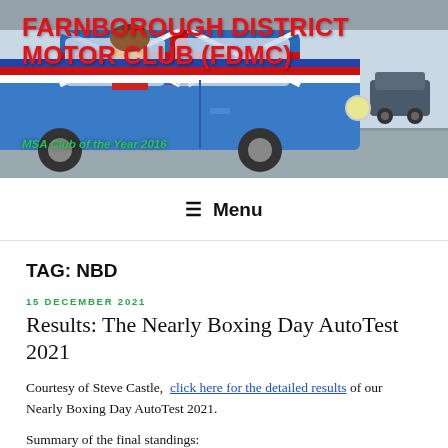[Figure (photo): Banner photo of a blue Mini Cooper with Union Jack roof design, a person leaning out the window. Red text overlay reads FARNBOROUGH DISTRICT MOTOR CLUB (FDMC) with green subtitle MSA Club of the Year 2016.]
FARNBOROUGH DISTRICT MOTOR CLUB (FDMC)
MSA Club of the Year 2016
≡ Menu
TAG: NBD
15 DECEMBER 2021
Results: The Nearly Boxing Day AutoTest 2021
Courtesy of Steve Castle,  click here for the detailed results of our Nearly Boxing Day AutoTest 2021.
Summary of the final standings: